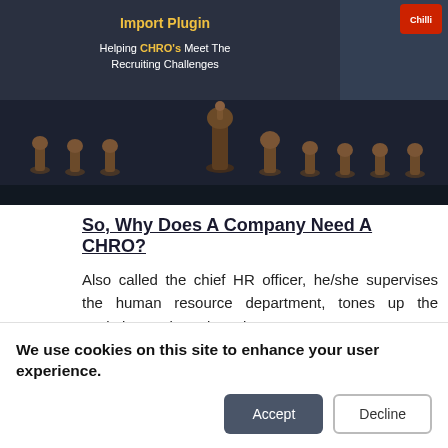[Figure (photo): Banner image showing chess pieces on a dark board with overlay text 'Import Plugin - Helping CHRO's Meet The Recruiting Challenges' and a Chilli logo in the top right corner.]
So, Why Does A Company Need A CHRO?
Also called the chief HR officer, he/she supervises the human resource department, tones up the workplace culture, lays due
We use cookies on this site to enhance your user experience.